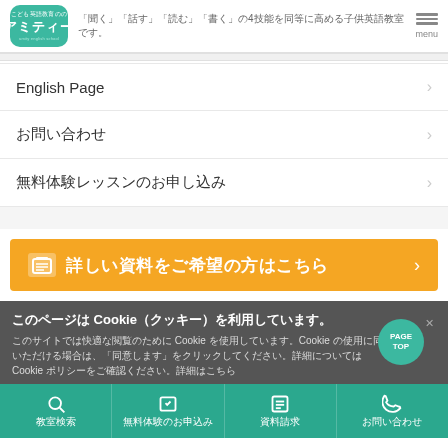アミティー — 「聞く」「話す」「読む」「書く」の4技能を同等に高める子供英語教室です。
English Page
お問い合わせ
無料体験レッスンのお申し込み
詳しい資料をご希望の方はこちら
このページは Cookie（クッキー）を利用しています。このサイトでは快適な閲覧のために Cookie を使用しています。Cookie の使用に同意いただける場合は、「同意します」をクリックしてください。詳細については Cookie ポリシーをご確認ください。詳細はこちら
教室検索 　無料体験のお申込み　資料請求　お問い合わせ